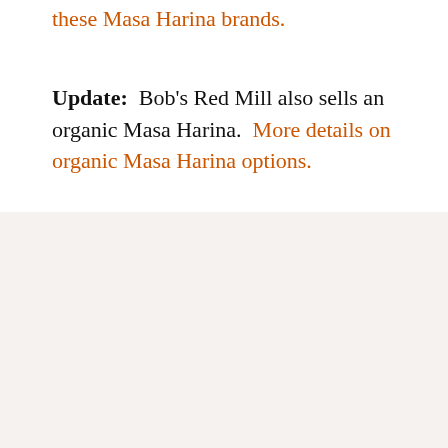these Masa Harina brands.
Update: Bob's Red Mill also sells an organic Masa Harina. More details on organic Masa Harina options.